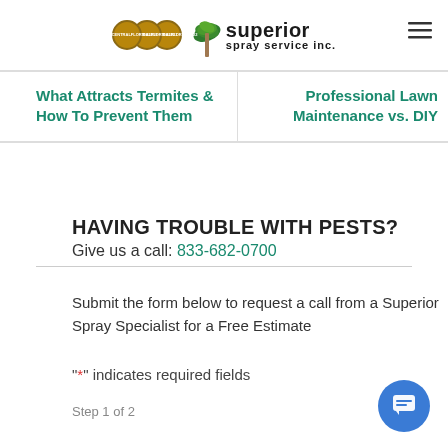[Figure (logo): Superior Spray Service Inc. logo with palm tree and Best of Central Florida badges]
What Attracts Termites & How To Prevent Them
Professional Lawn Maintenance vs. DIY
HAVING TROUBLE WITH PESTS?
Give us a call: 833-682-0700
Submit the form below to request a call from a Superior Spray Specialist for a Free Estimate
"*" indicates required fields
Step 1 of 2